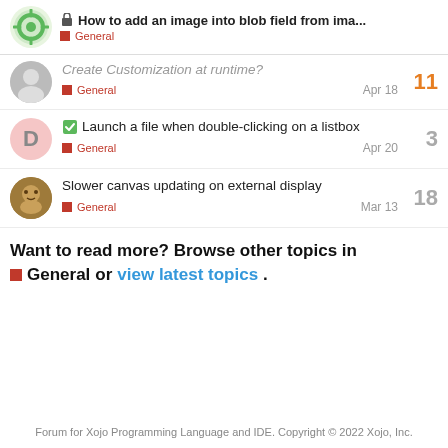How to add an image into blob field from ima... | General
Create customization at runtime? | General | Apr 18 | 11
Launch a file when double-clicking on a listbox | General | Apr 20 | 3
Slower canvas updating on external display | General | Mar 13 | 18
Want to read more? Browse other topics in General or view latest topics.
Forum for Xojo Programming Language and IDE. Copyright © 2022 Xojo, Inc.